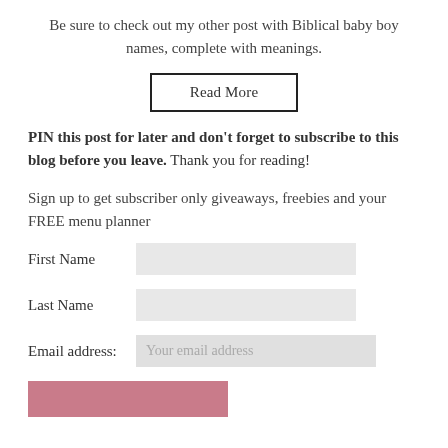Be sure to check out my other post with Biblical baby boy names, complete with meanings.
[Figure (other): Read More button with thick border]
PIN this post for later and don't forget to subscribe to this blog before you leave. Thank you for reading!
Sign up to get subscriber only giveaways, freebies and your FREE menu planner
First Name [input field]
Last Name [input field]
Email address: Your email address [input field]
[Figure (other): Pink subscribe button at bottom]